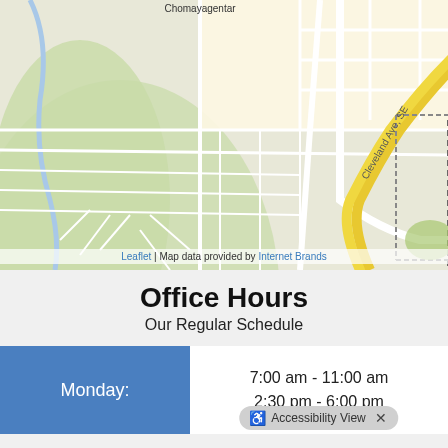[Figure (map): Street map showing Cleveland Ave SE area with surrounding roads and neighborhoods including Big Kettle and Kettle View. Map rendered via Leaflet with data from Internet Brands.]
Leaflet | Map data provided by Internet Brands
Office Hours
Our Regular Schedule
Monday: 7:00 am - 11:00 am  2:30 pm - 6:00 pm
Accessibility View  ×